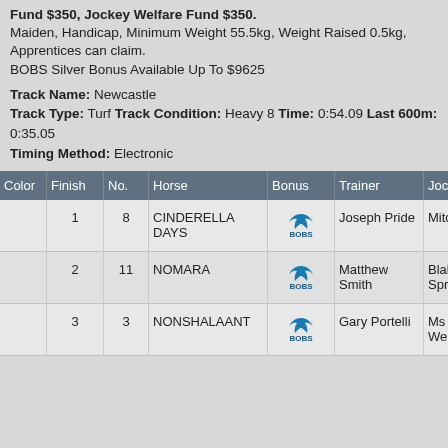$2,000, Equine Welfare Fund $350, Jockey Welfare Fund $350. Maiden, Handicap, Minimum Weight 55.5kg, Weight Raised 0.5kg, Apprentices can claim. BOBS Silver Bonus Available Up To $9625
Track Name: Newcastle Track Type: Turf Track Condition: Heavy 8 Time: 0:54.09 Last 600m: 0:35.05 Timing Method: Electronic
| Color | Finish | No. | Horse | Bonus | Trainer | Jockey |
| --- | --- | --- | --- | --- | --- | --- |
|  | 1 | 8 | CINDERELLA DAYS | BOBS | Joseph Pride | Mitchell Bell |
|  | 2 | 11 | NOMARA | BOBS | Matthew Smith | Blake Spriggs |
|  | 3 | 3 | NONSHALAANT | BOBS | Gary Portelli | Ms Mikayla Weir |